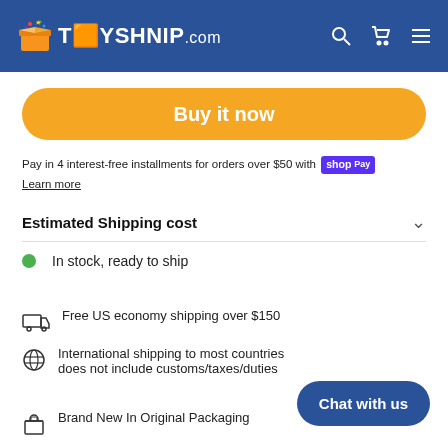TOYSHNIP.com
Buy it now
Pay in 4 interest-free installments for orders over $50 with shop Pay
Learn more
Estimated Shipping cost
In stock, ready to ship
Free US economy shipping over $150
International shipping to most countries does not include customs/taxes/duties
Brand New In Original Packaging
Chat with us